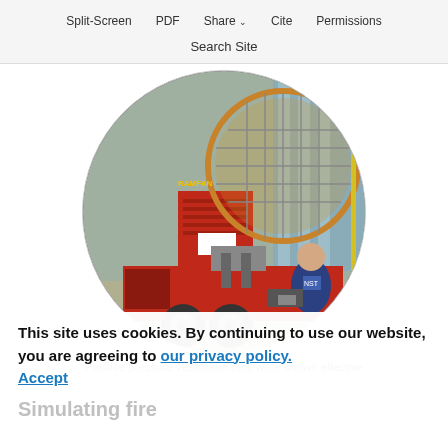Split-Screen  PDF  Share  Cite  Permissions  Search Site
[Figure (photo): A red positive pressure ventilation fan mounted on a trailer, with a person in a blue shirt sitting beside it operating controls. The image is displayed in a circular crop.]
Positive pressure ventilation fans were shown effective on
This site uses cookies. By continuing to use our website, you are agreeing to our privacy policy. Accept
Simulating fire